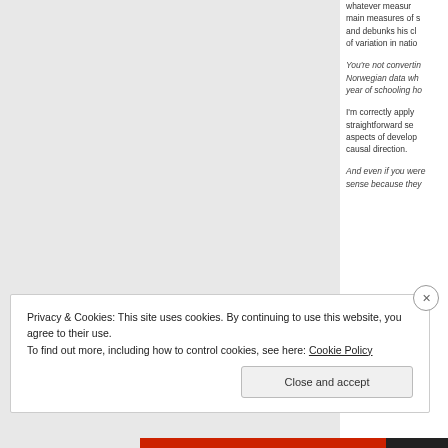whatever measur main measures of s and debunks his cl of variation in natio
You're not convertin Norwegian data wh year of schooling ho
I'm correctly apply straightforward se aspects of develo causal direction.
And even if you were sense because they
Privacy & Cookies: This site uses cookies. By continuing to use this website, you agree to their use.
To find out more, including how to control cookies, see here: Cookie Policy
Close and accept